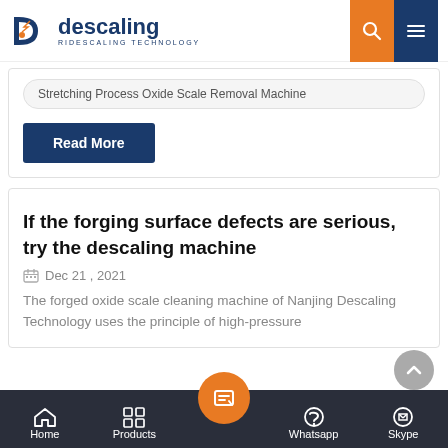descaling — RIDESCALING TECHNOLOGY
Stretching Process Oxide Scale Removal Machine
Read More
If the forging surface defects are serious, try the descaling machine
Dec 21 , 2021
The forged oxide scale cleaning machine of Nanjing Descaling Technology uses the principle of high-pressure
Home  Products  Whatsapp  Skype